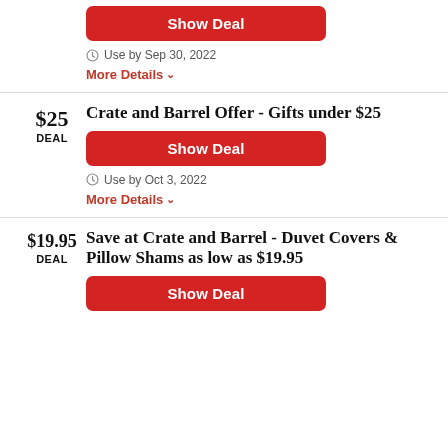Show Deal
Use by Sep 30, 2022
More Details
$25 DEAL
Crate and Barrel Offer - Gifts under $25
Show Deal
Use by Oct 3, 2022
More Details
$19.95 DEAL
Save at Crate and Barrel - Duvet Covers & Pillow Shams as low as $19.95
Show Deal